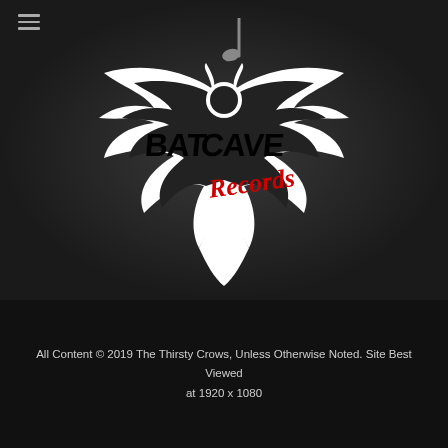[Figure (logo): Batcave Records logo: a bat silhouette with wings spread, containing the text BAT CAVE in stylized black lettering and Records in red cursive script, with a musical note above, on a dark textured background]
All Content © 2019 The Thirsty Crows, Unless Otherwise Noted. Site Best Viewed at 1920 x 1080